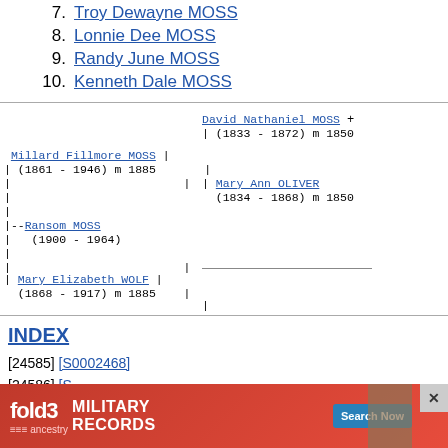7. Troy Dewayne MOSS
8. Lonnie Dee MOSS
9. Randy June MOSS
10. Kenneth Dale MOSS
[Figure (other): Genealogical family tree diagram showing: Millard Fillmore MOSS (1861-1946) m 1885, with parents David Nathaniel MOSS + (1833-1872) m 1850 and Mary Ann OLIVER (1834-1868) m 1850. Child: Ransom MOSS (1900-1964). Spouse: Mary Elizabeth WOLF (1868-1917) m 1885.]
INDEX
[24585] [S0002468]
[24586] [S...]
[Figure (other): Fold3 Military Records advertisement banner with Search Now button]